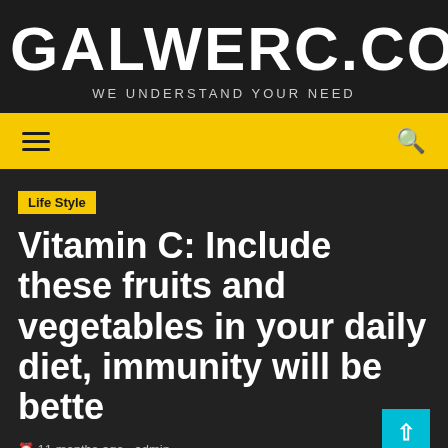GALWERC.COM
WE UNDERSTAND YOUR NEED
Navigation bar with hamburger menu and search icon
Life Style
Vitamin C: Include these fruits and vegetables in your daily diet, immunity will be bette
11 months ago  admin